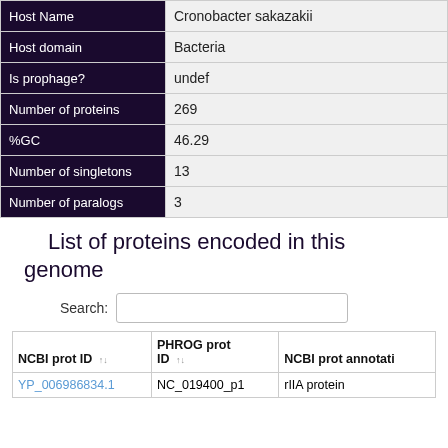| Field | Value |
| --- | --- |
| Host Name | Cronobacter sakazakii |
| Host domain | Bacteria |
| Is prophage? | undef |
| Number of proteins | 269 |
| %GC | 46.29 |
| Number of singletons | 13 |
| Number of paralogs | 3 |
List of proteins encoded in this genome
| NCBI prot ID | PHROG prot ID | NCBI prot annotati |
| --- | --- | --- |
| YP_006986834.1 | NC_019400_p1 | rIIA protein |